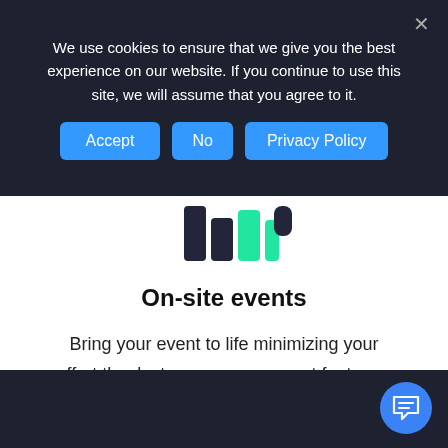We use cookies to ensure that we give you the best experience on our website. If you continue to use this site, we will assume that you agree to it.
Accept | No | Privacy Policy
[Figure (logo): Partial logo icon with dark and green bar chart shapes on white background]
On-site events
Bring your event to life minimizing your effort thanks to our management features.
[Figure (illustration): Blue circular chat button with message icon in bottom right corner]